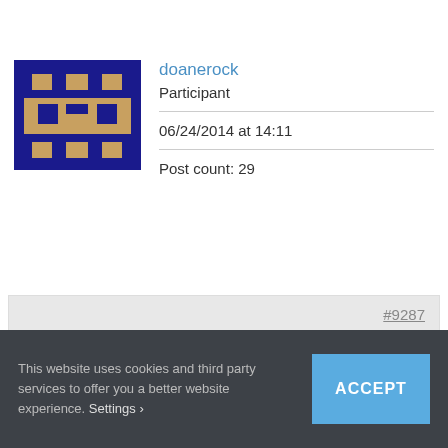[Figure (illustration): Pixel art avatar of user doanerock — dark blue background with tan/gold geometric shapes forming a retro-game character face]
doanerock
Participant
06/24/2014 at 14:11
Post count: 29
#9287
petrockblog > I am excited to see a new version that fixes these image quality, full screen and audio issues.
This website uses cookies and third party services to offer you a better website experience. Settings ›
ACCEPT